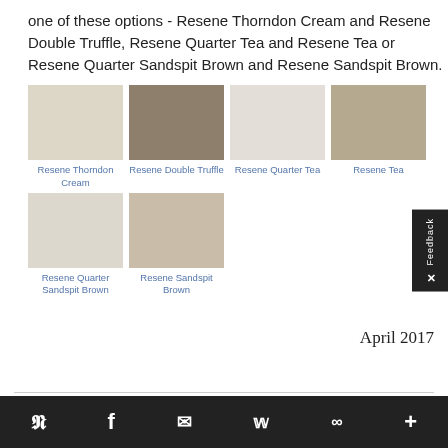one of these options - Resene Thorndon Cream and Resene Double Truffle, Resene Quarter Tea and Resene Tea or Resene Quarter Sandspit Brown and Resene Sandspit Brown.
[Figure (illustration): Six color swatches: Resene Thorndon Cream (light beige), Resene Double Truffle (dark taupe/grey-brown), Resene Quarter Tea (very light grey-cream), Resene Tea (medium taupe/sand), Resene Quarter Sandspit Brown (very light warm beige), Resene Sandspit Brown (medium warm sand/taupe). Each swatch is a rectangle with a color label below in blue text.]
April 2017
Social share icons: Pinterest, Facebook, Email, Twitter, Link, Plus